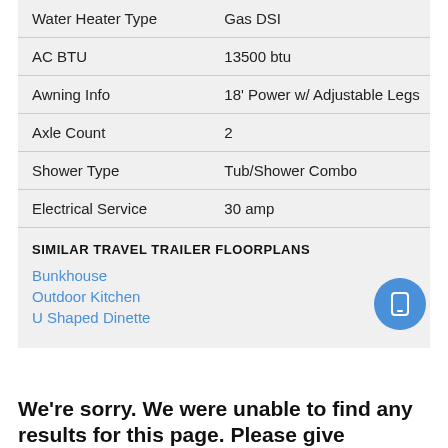| Feature | Value |
| --- | --- |
| Water Heater Type | Gas DSI |
| AC BTU | 13500 btu |
| Awning Info | 18' Power w/ Adjustable Legs |
| Axle Count | 2 |
| Shower Type | Tub/Shower Combo |
| Electrical Service | 30 amp |
SIMILAR TRAVEL TRAILER FLOORPLANS
Bunkhouse
Outdoor Kitchen
U Shaped Dinette
We're sorry. We were unable to find any results for this page. Please give